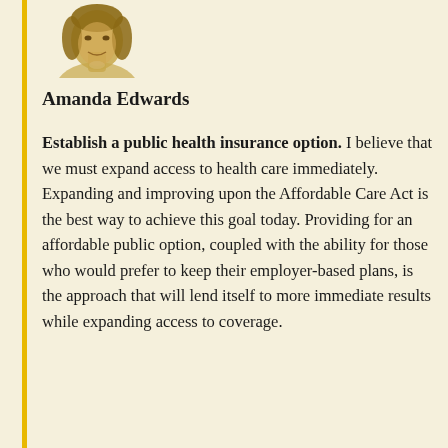[Figure (photo): Portrait photo of Amanda Edwards, a woman, shown from shoulders up with a golden/sepia tone, partially visible at top of page]
Amanda Edwards
Establish a public health insurance option. I believe that we must expand access to health care immediately. Expanding and improving upon the Affordable Care Act is the best way to achieve this goal today. Providing for an affordable public option, coupled with the ability for those who would prefer to keep their employer-based plans, is the approach that will lend itself to more immediate results while expanding access to coverage.